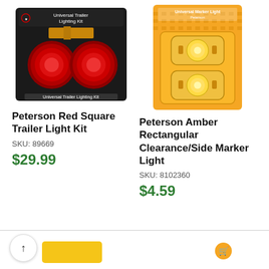[Figure (photo): Peterson Red Square Trailer Light Kit product packaging photo]
[Figure (photo): Peterson Amber Rectangular Clearance/Side Marker Light product packaging photo]
Peterson Red Square Trailer Light Kit
SKU: 89669
$29.99
Peterson Amber Rectangular Clearance/Side Marker Light
SKU: 8102360
$4.59